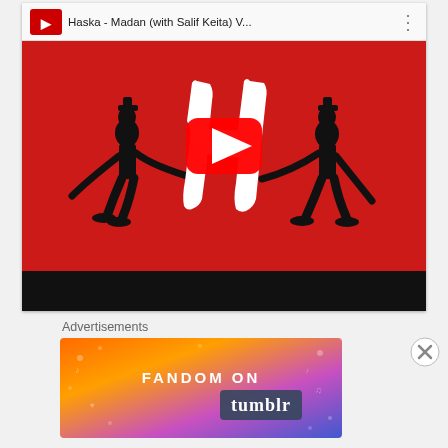[Figure (screenshot): YouTube embedded video player showing 'Haska - Madan (with Salif Keita) V...' with a red thumbnail featuring a white stylized H letter and two black silhouette figures on either side, with a YouTube play button overlay]
Advertisements
[Figure (screenshot): Fandom on Tumblr advertisement banner with colorful gradient background (orange to purple) and text 'FANDOM ON tumblr' with decorative music and heart icons]